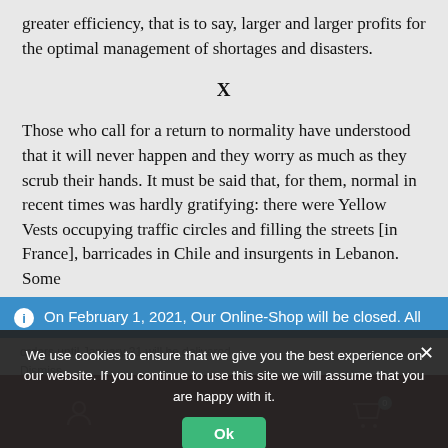greater efficiency, that is to say, larger and larger profits for the optimal management of shortages and disasters.
X
Those who call for a return to normality have understood that it will never happen and they worry as much as they scrub their hands. It must be said that, for them, normal in recent times was hardly gratifying: there were Yellow Vests occupying traffic circles and filling the streets [in France], barricades in Chile and insurgents in Lebanon. Some
On February 1, 2021, Our Online-Shop will be closed. All orders until January 31 will be delivered
Dismiss
We use cookies to ensure that we give you the best experience on our website. If you continue to use this site we will assume that you are happy with it.